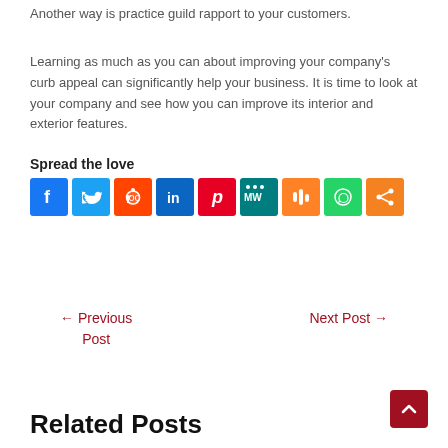Another way is practice guild rapport to your customers.
Learning as much as you can about improving your company’s curb appeal can significantly help your business. It is time to look at your company and see how you can improve its interior and exterior features.
Spread the love
[Figure (other): Row of social media sharing icons: Facebook (blue), Twitter (light blue), Reddit (orange-red), LinkedIn (blue), Pinterest (red), MeWe (teal), Mix (orange), WhatsApp (green), Share (orange)]
← Previous Post
Next Post →
Related Posts